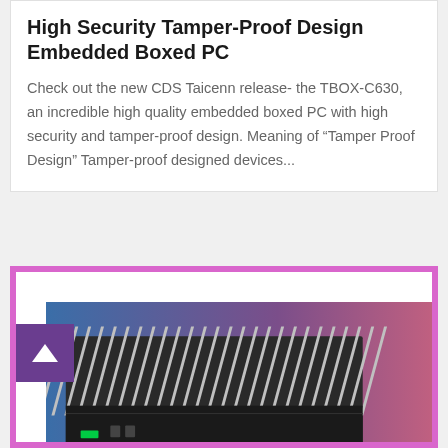High Security Tamper-Proof Design Embedded Boxed PC
Check out the new CDS Taicenn release- the TBOX-C630, an incredible high quality embedded boxed PC with high security and tamper-proof design. Meaning of “Tamper Proof Design” Tamper-proof designed devices...
[Figure (photo): Photo of a embedded boxed PC (TBOX-C630) showing a metal enclosure with heat sink fins, viewed from above at an angle. Background has blue and purple/pink tones. Framed with a pink/magenta border.]